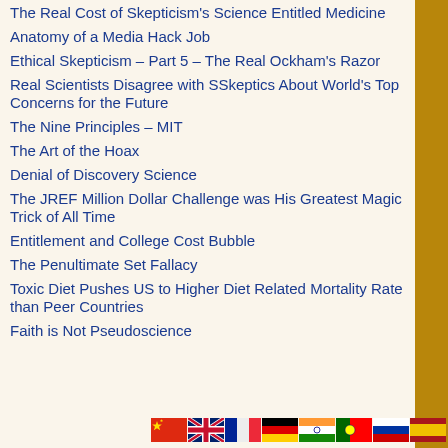The Real Cost of Skepticism's Science Entitled Medicine
Anatomy of a Media Hack Job
Ethical Skepticism – Part 5 – The Real Ockham's Razor
Real Scientists Disagree with SSkeptics About World's Top Concerns for the Future
The Nine Principles – MIT
The Art of the Hoax
Denial of Discovery Science
The JREF Million Dollar Challenge was His Greatest Magic Trick of All Time
Entitlement and College Cost Bubble
The Penultimate Set Fallacy
Toxic Diet Pushes US to Higher Diet Related Mortality Rate than Peer Countries
Faith is Not Pseudoscience
[Figure (infographic): Row of country flag icons: China, UK, France, Germany, India, Portugal, Russia, Spain]